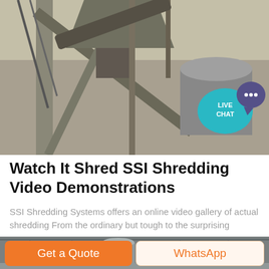[Figure (photo): Industrial shredding machinery with metal structures, conveyor belts, and large cylindrical components. A teal 'LIVE CHAT' speech bubble badge is visible in the upper right corner.]
Watch It Shred SSI Shredding Video Demonstrations
SSI Shredding Systems offers an online video gallery of actual shredding From the ordinary but tough to the surprising
[Figure (photo): Interior of an industrial warehouse/facility with metal roof trusses, cylindrical tanks, orange machinery equipment.]
Get a Quote
WhatsApp